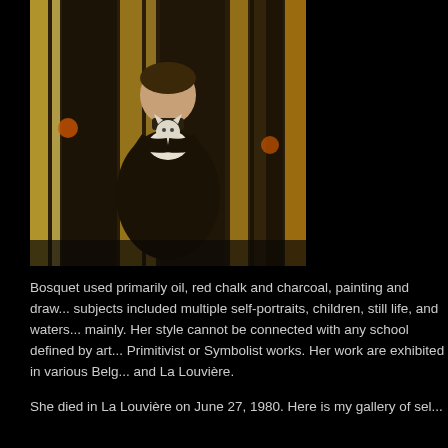[Figure (photo): A painting of a young girl in a dark dress holding a white cat, standing among trees with yellowish-white vertical strokes suggesting birch trunks or forest background.]
Bosquet used primarily oil, red chalk and charcoal, painting and drawing. Her subjects included multiple self-portraits, children, still life, and waterscapes mainly. Her style cannot be connected with any school defined by art — Primitivist or Symbolist works. Her work are exhibited in various Belgian cities and La Louvière.
She died in La Louvière on June 27, 1980. Here is my gallery of sel...